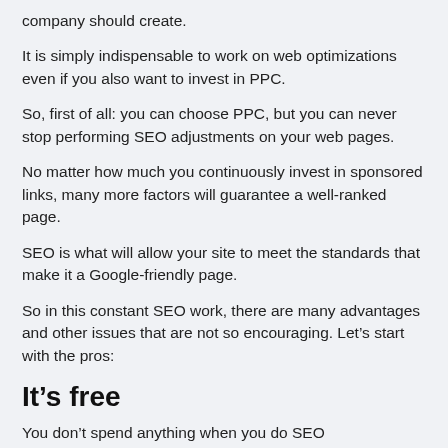company should create.
It is simply indispensable to work on web optimizations even if you also want to invest in PPC.
So, first of all: you can choose PPC, but you can never stop performing SEO adjustments on your web pages.
No matter how much you continuously invest in sponsored links, many more factors will guarantee a well-ranked page.
SEO is what will allow your site to meet the standards that make it a Google-friendly page.
So in this constant SEO work, there are many advantages and other issues that are not so encouraging. Let’s start with the pros:
It’s free
You don’t spend anything when you do SEO